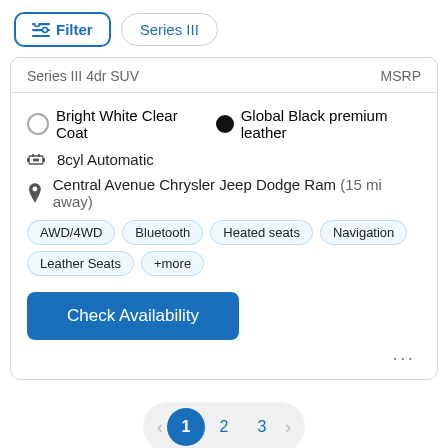Filter | Series III
Series III 4dr SUV | MSRP
Bright White Clear Coat | Global Black premium leather
8cyl Automatic
Central Avenue Chrysler Jeep Dodge Ram (15 mi away)
AWD/4WD
Bluetooth
Heated seats
Navigation
Leather Seats
+more
Check Availability
1 2 3